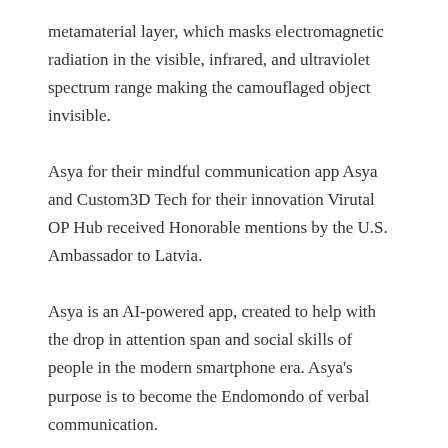metamaterial layer, which masks electromagnetic radiation in the visible, infrared, and ultraviolet spectrum range making the camouflaged object invisible.
Asya for their mindful communication app Asya and Custom3D Tech for their innovation Virutal OP Hub received Honorable mentions by the U.S. Ambassador to Latvia.
Asya is an AI-powered app, created to help with the drop in attention span and social skills of people in the modern smartphone era. Asya's purpose is to become the Endomondo of verbal communication.